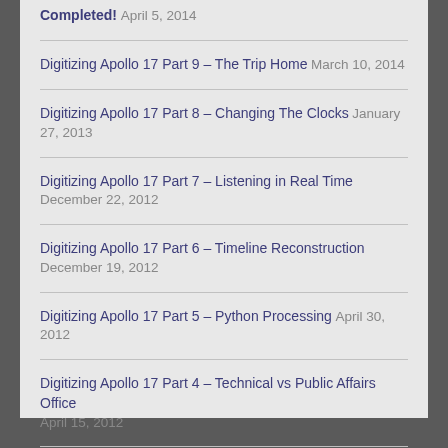Completed! April 5, 2014
Digitizing Apollo 17 Part 9 – The Trip Home March 10, 2014
Digitizing Apollo 17 Part 8 – Changing The Clocks January 27, 2013
Digitizing Apollo 17 Part 7 – Listening in Real Time December 22, 2012
Digitizing Apollo 17 Part 6 – Timeline Reconstruction December 19, 2012
Digitizing Apollo 17 Part 5 – Python Processing April 30, 2012
Digitizing Apollo 17 Part 4 – Technical vs Public Affairs Office April 15, 2012
Digitizing Apollo 17 Part 3 – New OCR Techniques March 30, 2012